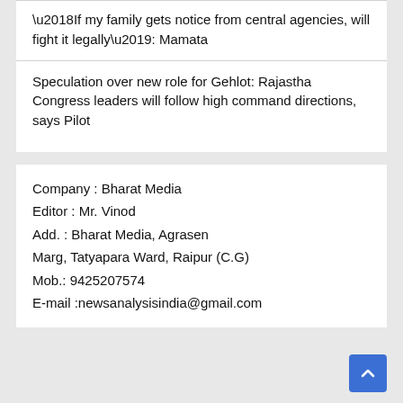‘If my family gets notice from central agencies, will fight it legally’: Mamata
Speculation over new role for Gehlot: Rajastha Congress leaders will follow high command directions, says Pilot
Company : Bharat Media
Editor : Mr. Vinod
Add. : Bharat Media, Agrasen Marg, Tatyapara Ward, Raipur (C.G)
Mob.: 9425207574
E-mail :newsanalysisindia@gmail.com